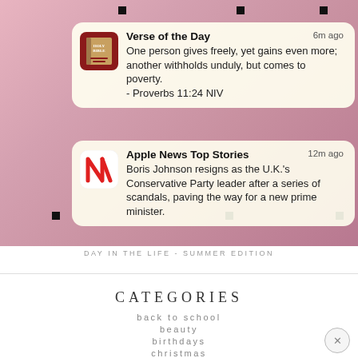[Figure (screenshot): iOS notification screen showing two notifications: 'Verse of the Day' with a Bible quote from Proverbs 11:24 NIV posted 6m ago, and 'Apple News Top Stories' about Boris Johnson resigning as UK Conservative Party leader posted 12m ago, on a pink/rose background with registration marks]
DAY IN THE LIFE - SUMMER EDITION
CATEGORIES
back to school
beauty
birthdays
christmas
craft projects
day in the life
holiday food
travel